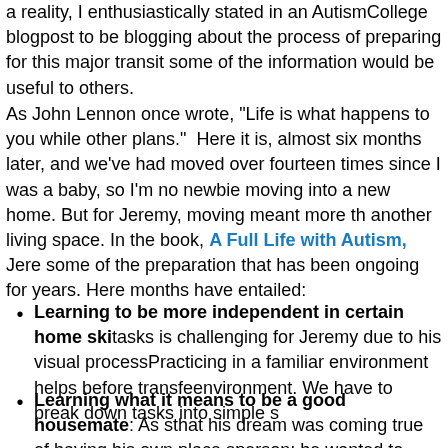a reality, I enthusiastically stated in an AutismCollege blogpost to be blogging about the process of preparing for this major transition some of the information would be useful to others.
As John Lennon once wrote, "Life is what happens to you while other plans." Here it is, almost six months later, and we've had moved over fourteen times since I was a baby, so I'm no newbie moving into a new home. But for Jeremy, moving meant more than another living space. In the book, A Full Life with Autism, Jeremy describes some of the preparation that has been ongoing for years. Here months have entailed:
Learning to be more independent in certain home skills: tasks is challenging for Jeremy due to his visual processing. Practicing in a familiar environment helps before transferring to a new environment. We have to break down tasks into simple steps.
Learning what it means to be a good housemate: As Jeremy realized that his dream was coming true of having his own place shared with another person; he wanted to know what it meant to be a good roommate.